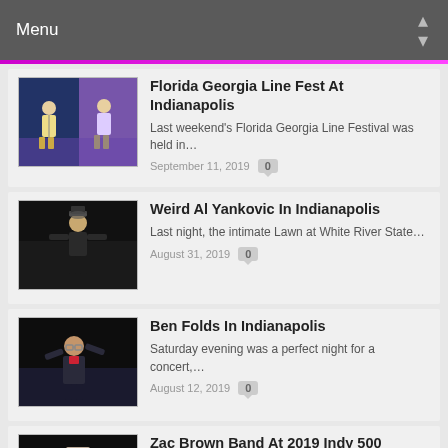Menu
Florida Georgia Line Fest At Indianapolis — Last weekend's Florida Georgia Line Festival was held in… — September 11, 2019 — 0
Weird Al Yankovic In Indianapolis — Last night, the intimate Lawn at White River State… — August 31, 2019 — 0
Ben Folds In Indianapolis — Saturday evening was a perfect night for a concert,… — August 12, 2019 — 0
Zac Brown Band At 2019 Indy 500